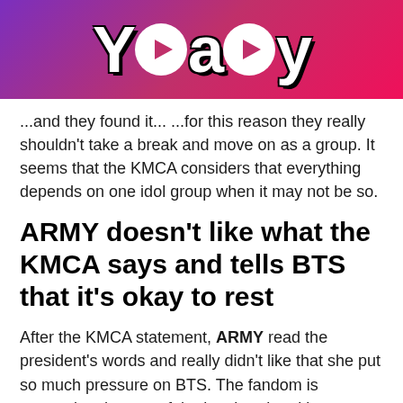Yaay
...and they found it... ...for this reason they really shouldn't take a break and move on as a group. It seems that the KMCA considers that everything depends on one idol group when it may not be so.
ARMY doesn't like what the KMCA says and tells BTS that it's okay to rest
After the KMCA statement, ARMY read the president's words and really didn't like that she put so much pressure on BTS. The fandom is supporting the rest of the boy band and became a